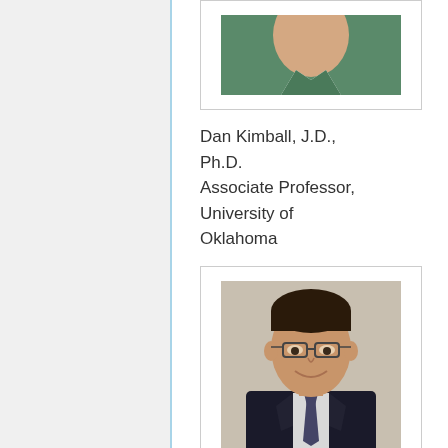[Figure (photo): Headshot of Dan Kimball wearing green shirt/jacket, cropped at top of page]
Dan Kimball, J.D., Ph.D.
Associate Professor, University of Oklahoma
[Figure (photo): Headshot of Matthew P. Kirschen, man with dark hair and glasses in suit and tie, smiling]
Matthew P. Kirschen, M.D., Ph.D.
Pediatric Critical Care, Attending Physician,